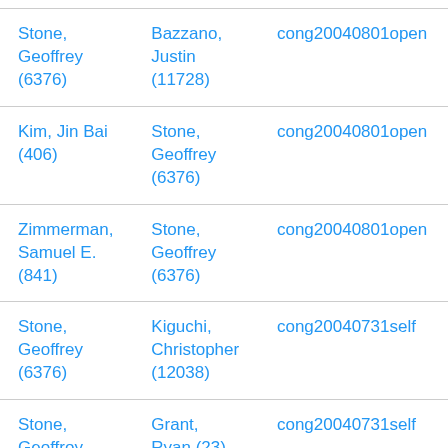| Stone, Geoffrey (6376) | Bazzano, Justin (11728) | cong20040801open |
| Kim, Jin Bai (406) | Stone, Geoffrey (6376) | cong20040801open |
| Zimmerman, Samuel E. (841) | Stone, Geoffrey (6376) | cong20040801open |
| Stone, Geoffrey (6376) | Kiguchi, Christopher (12038) | cong20040731self |
| Stone, Geoffrey (6376) | Grant, Ryan (23) | cong20040731self |